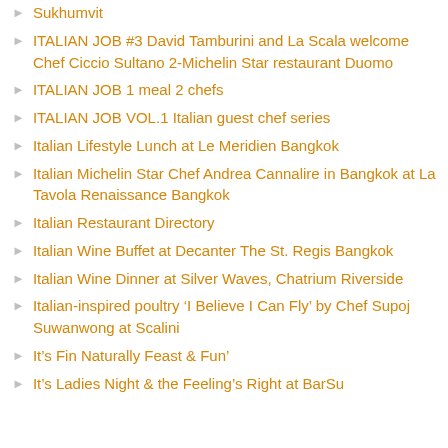Sukhumvit
ITALIAN JOB #3 David Tamburini and La Scala welcome Chef Ciccio Sultano 2-Michelin Star restaurant Duomo
ITALIAN JOB 1 meal 2 chefs
ITALIAN JOB VOL.1 Italian guest chef series
Italian Lifestyle Lunch at Le Meridien Bangkok
Italian Michelin Star Chef Andrea Cannalire in Bangkok at La Tavola Renaissance Bangkok
Italian Restaurant Directory
Italian Wine Buffet at Decanter The St. Regis Bangkok
Italian Wine Dinner at Silver Waves, Chatrium Riverside
Italian-inspired poultry ‘I Believe I Can Fly’ by Chef Supoj Suwanwong at Scalini
It’s Fin Naturally Feast & Fun’
It’s Ladies Night & the Feeling’s Right at BarSu